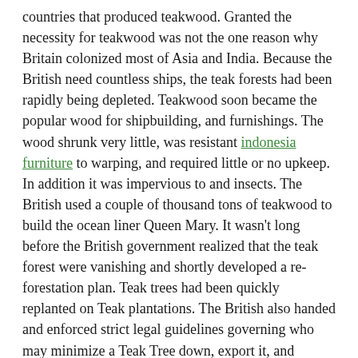countries that produced teakwood. Granted the necessity for teakwood was not the one reason why Britain colonized most of Asia and India. Because the British need countless ships, the teak forests had been rapidly being depleted. Teakwood soon became the popular wood for shipbuilding, and furnishings. The wood shrunk very little, was resistant indonesia furniture to warping, and required little or no upkeep. In addition it was impervious to and insects. The British used a couple of thousand tons of teakwood to build the ocean liner Queen Mary. It wasn't long before the British government realized that the teak forest were vanishing and shortly developed a re-forestation plan. Teak trees had been quickly replanted on Teak plantations. The British also handed and enforced strict legal guidelines governing who may minimize a Teak Tree down, export it, and purchase teakwood.
If you want to keep or bring the natural golden color back you'll be able to add teak protector(PNT-00360) to keep up the natural shade. With a view to protect the golden teak color